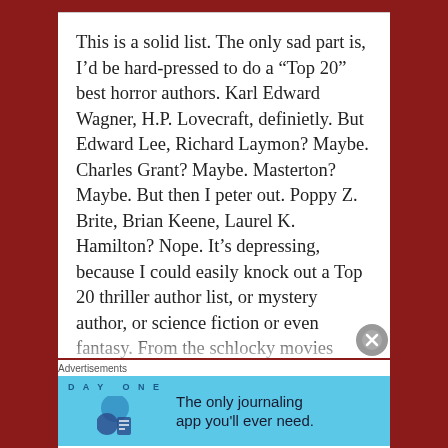This is a solid list. The only sad part is, I'd be hard-pressed to do a “Top 20” best horror authors. Karl Edward Wagner, H.P. Lovecraft, definietly. But Edward Lee, Richard Laymon? Maybe. Charles Grant? Maybe. Masterton? Maybe. But then I peter out. Poppy Z. Brite, Brian Keene, Laurel K. Hamilton? Nope. It’s depressing, because I could easily knock out a Top 20 thriller author list, or mystery author, or science fiction or even fantasy. From the schlocky movies Hollywood puts out, you’d think
Advertisements
[Figure (infographic): Day One journaling app advertisement banner on light blue background with app logo icons and tagline 'The only journaling app you'll ever need.']